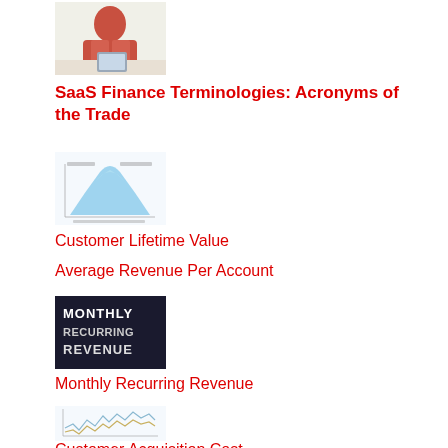[Figure (photo): Person in red jacket working at a desk with a tablet]
SaaS Finance Terminologies: Acronyms of the Trade
[Figure (other): Customer Lifetime Value diagram with a triangular/bell curve shape]
Customer Lifetime Value
Average Revenue Per Account
[Figure (photo): Dark background with text MONTHLY RECURRING REVENUE]
Monthly Recurring Revenue
[Figure (line-chart): Line chart with jagged lines showing financial data]
Customer Acquisition Cost
Bookings vs Revenues vs Billings